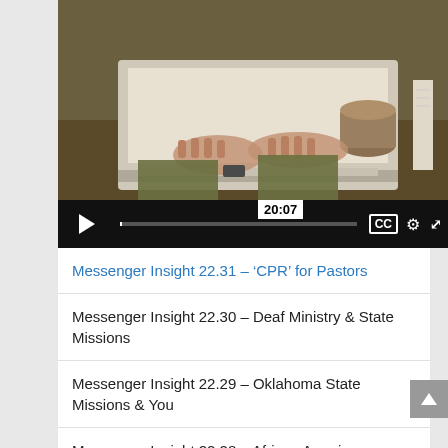[Figure (screenshot): Video player showing a person typing on a laptop with a coffee cup, timestamp 20:07, with play button, progress bar, CC, settings, and fullscreen controls]
Messenger Insight 22.31 – 'CPR' for Pastors
Messenger Insight 22.30 – Deaf Ministry & State Missions
Messenger Insight 22.29 – Oklahoma State Missions & You
Messenger Insight 22.28 – African American Ministry Advancing the Gospel
Messenger Insight 22.27 – Deaf Ministry Context & the